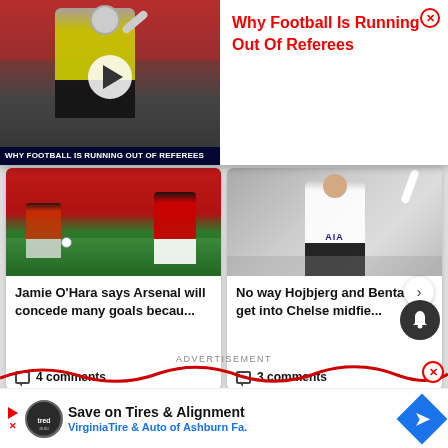[Figure (screenshot): Video thumbnail popup overlay with a football referee in yellow jacket raising hand, crowd in background, with play button. Title bar reads 'Why Football Is Running Out Of Referees']
Why Football Is Running Out Of Referees
[Figure (photo): Arsenal football match photo with players in red kit on green pitch]
Jamie O'Hara says Arsenal will concede many goals becau...
4 comments
[Figure (photo): Tottenham Hotspur player in white AIA kit raising arm]
No way Hojbjerg and Bentancur get into Chelsea midfie...
3 comments
ADVERTISEMENT
[Figure (other): Red wavy decorative line with close X button]
[Figure (other): Advertisement banner: Save on Tires & Alignment - VirginiaTire & Auto of Ashburn Fa.]